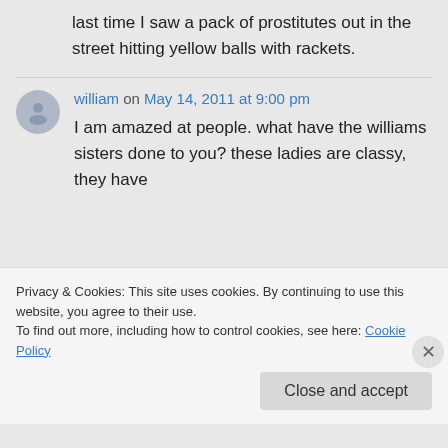last time I saw a pack of prostitutes out in the street hitting yellow balls with rackets.
william on May 14, 2011 at 9:00 pm
I am amazed at people. what have the williams sisters done to you? these ladies are classy, they have
Privacy & Cookies: This site uses cookies. By continuing to use this website, you agree to their use.
To find out more, including how to control cookies, see here: Cookie Policy